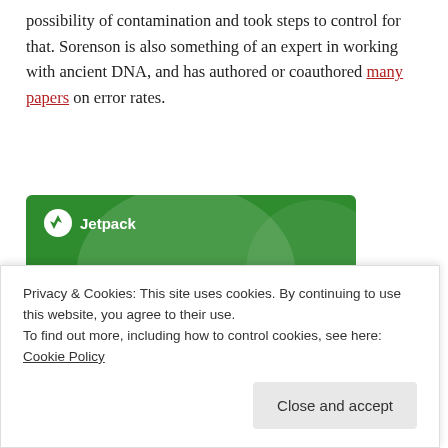possibility of contamination and took steps to control for that. Sorenson is also something of an expert in working with ancient DNA, and has authored or coauthored many papers on error rates.
[Figure (other): Jetpack advertisement banner: green background with decorative circles, Jetpack logo and name at top, headline 'The best real-time WordPress backup plugin', and a white button reading 'Back up your site']
Privacy & Cookies: This site uses cookies. By continuing to use this website, you agree to their use.
To find out more, including how to control cookies, see here: Cookie Policy